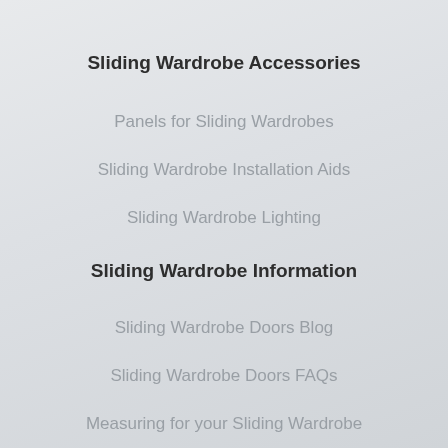Sliding Wardrobe Accessories
Panels for Sliding Wardrobes
Sliding Wardrobe Installation Aids
Sliding Wardrobe Lighting
Sliding Wardrobe Information
Sliding Wardrobe Doors Blog
Sliding Wardrobe Doors FAQs
Measuring for your Sliding Wardrobe